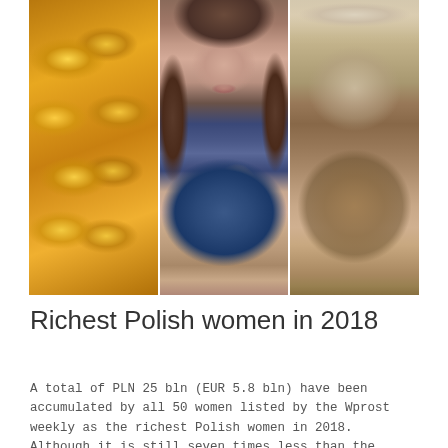[Figure (photo): Three-panel collage image: left panel shows gold jewelry/chain links in golden tones, center panel shows a woman with dark hair giving a thumbs up wearing a blue patterned top, right panel shows a glass with tea or liquid with metallic/glass rim]
Richest Polish women in 2018
A total of PLN 25 bln (EUR 5.8 bln) have been accumulated by all 50 women listed by the Wprost weekly as the richest Polish women in 2018. Although it is still seven times less than the richest woman on the planet